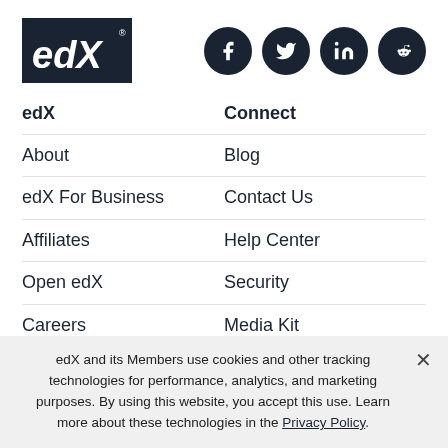[Figure (logo): edX logo - dark teal background with white 'edX' text and registered trademark symbol]
[Figure (illustration): Social media icons: Facebook, Twitter, LinkedIn, Reddit - dark circular buttons]
edX
Connect
About
Blog
edX For Business
Contact Us
Affiliates
Help Center
Open edX
Security
Careers
Media Kit
edX and its Members use cookies and other tracking technologies for performance, analytics, and marketing purposes. By using this website, you accept this use. Learn more about these technologies in the Privacy Policy.